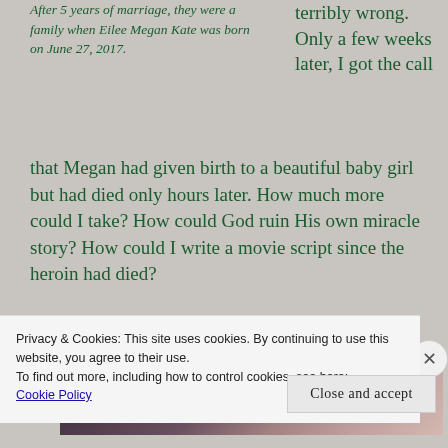After 5 years of marriage, they were a family when Eilee Megan Kate was born on June 27, 2017.
terribly wrong. Only a few weeks later, I got the call that Megan had given birth to a beautiful baby girl but had died only hours later. How much more could I take? How could God ruin His own miracle story? How could I write a movie script since the heroin had died?
[Figure (photo): Partial photo of an elderly person on a stage with purple/dark background]
Privacy & Cookies: This site uses cookies. By continuing to use this website, you agree to their use.
To find out more, including how to control cookies, see here: Cookie Policy
Close and accept